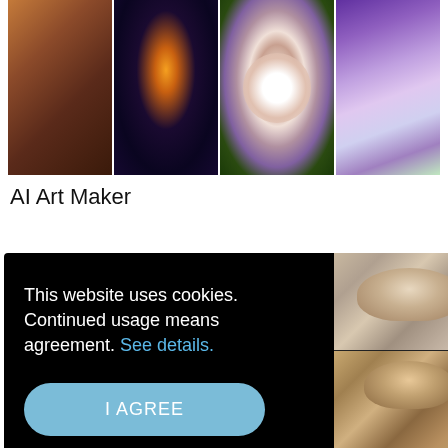[Figure (photo): Four AI-generated images in a horizontal strip: a warm orange/brown fantasy scene, a dark fantasy crowd scene with glowing figure, a purple panda face close-up, and a purple blurred animal/plant scene]
AI Art Maker
[Figure (screenshot): Cookie consent overlay on black background with text 'This website uses cookies. Continued usage means agreement. See details.' and an 'I AGREE' button. On the right side are two vintage portrait photos: a young woman and a man in military uniform.]